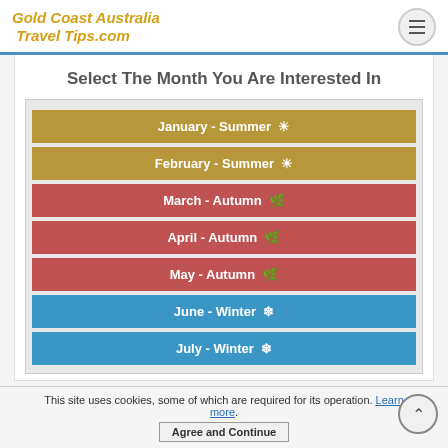Gold Coast Australia Travel Tips.com
Select The Month You Are Interested In
January - Summer ☀
February - Summer ☀
March - Autumn 🍃
April - Autumn 🍃
May - Autumn 🍃
June - Winter ❄
July - Winter ❄
This site uses cookies, some of which are required for its operation. Learn more. Agree and Continue